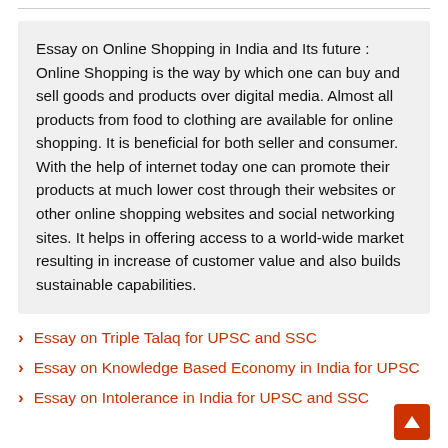Essay on Online Shopping in India and Its future : Online Shopping is the way by which one can buy and sell goods and products over digital media. Almost all products from food to clothing are available for online shopping. It is beneficial for both seller and consumer. With the help of internet today one can promote their products at much lower cost through their websites or other online shopping websites and social networking sites. It helps in offering access to a world-wide market resulting in increase of customer value and also builds sustainable capabilities.
Essay on Triple Talaq for UPSC and SSC
Essay on Knowledge Based Economy in India for UPSC
Essay on Intolerance in India for UPSC and SSC